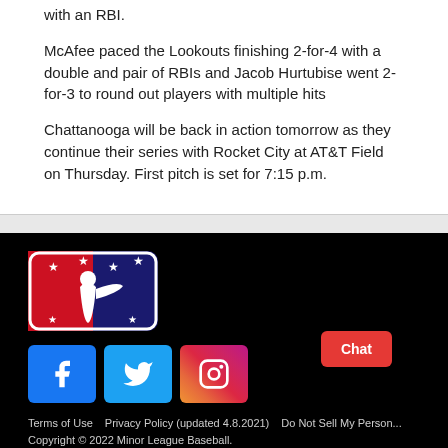with an RBI.
McAfee paced the Lookouts finishing 2-for-4 with a double and pair of RBIs and Jacob Hurtubise went 2-for-3 to round out players with multiple hits
Chattanooga will be back in action tomorrow as they continue their series with Rocket City at AT&T Field on Thursday. First pitch is set for 7:15 p.m.
[Figure (logo): Minor League Baseball logo — silhouette of batter on red/blue background with stars]
[Figure (illustration): Social media icons: Facebook (blue), Twitter (light blue), Instagram (gradient)]
Terms of Use   Privacy Policy (updated 4.8.2021)   Do Not Sell My Person... Chat
Copyright © 2022 Minor League Baseball.
Minor League Baseball trademarks and copyrights are the property of Minor League Baseball. All Rights Reserved